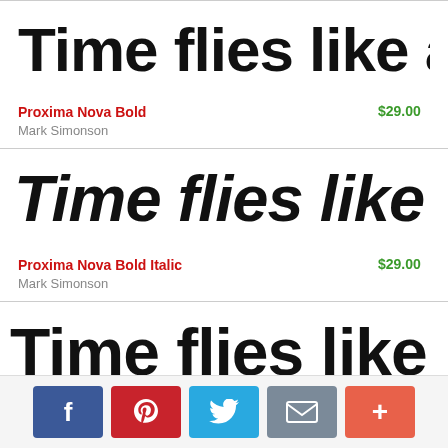[Figure (screenshot): Preview of Proxima Nova Bold font showing 'Time flies like an a' in large bold black text]
Proxima Nova Bold
$29.00
Mark Simonson
[Figure (screenshot): Preview of Proxima Nova Bold Italic font showing 'Time flies like an a' in large bold italic black text]
Proxima Nova Bold Italic
$29.00
Mark Simonson
[Figure (screenshot): Preview of a third font showing 'Time flies like an a' in large bold black text]
[Figure (infographic): Social sharing footer bar with Facebook, Pinterest, Twitter, mail, and more buttons]